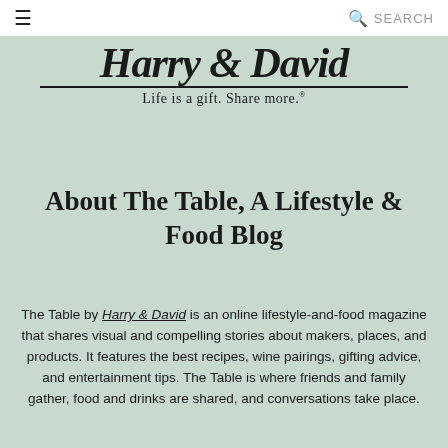≡   SEARCH
[Figure (logo): Harry & David cursive script logo with tagline 'Life is a gift. Share more.']
About The Table, A Lifestyle & Food Blog
The Table by Harry & David is an online lifestyle-and-food magazine that shares visual and compelling stories about makers, places, and products. It features the best recipes, wine pairings, gifting advice, and entertainment tips. The Table is where friends and family gather, food and drinks are shared, and conversations take place.